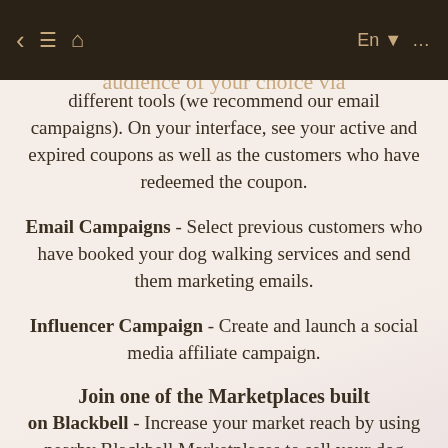amount, and the targeted services and customers. Share these coupons to the audience of your choice via different tools (we recommend our email campaigns).
different tools (we recommend our email campaigns). On your interface, see your active and expired coupons as well as the customers who have redeemed the coupon.
Email Campaigns - Select previous customers who have booked your dog walking services and send them marketing emails.
Influencer Campaign - Create and launch a social media affiliate campaign.
Join one of the Marketplaces built on Blackbell
Join one of the Marketplaces built on Blackbell - Increase your market reach by using nearby Blackbell Marketplaces to sell your dog walking services in Fortaleza. Select the page you would like to submit to that marketplace, and once your application is submitted, you will start receiving bookings through that that